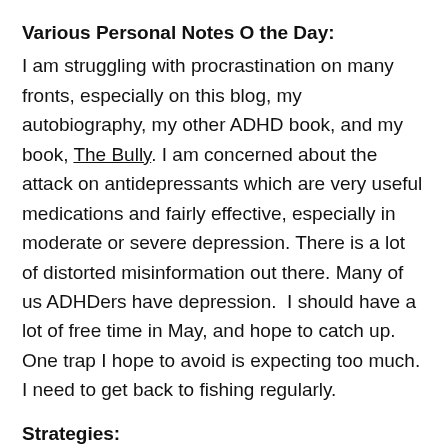Various Personal Notes O the Day:
I am struggling with procrastination on many fronts, especially on this blog, my autobiography, my other ADHD book, and my book, The Bully. I am concerned about the attack on antidepressants which are very useful medications and fairly effective, especially in moderate or severe depression. There is a lot of distorted misinformation out there. Many of us ADHDers have depression.  I should have a lot of free time in May, and hope to catch up. One trap I hope to avoid is expecting too much. I need to get back to fishing regularly.
Strategies:
1. Keep the to do list short and realistic.
2. Focus on one thing at a time and forget about the others. That is one of the purposes of the lists.